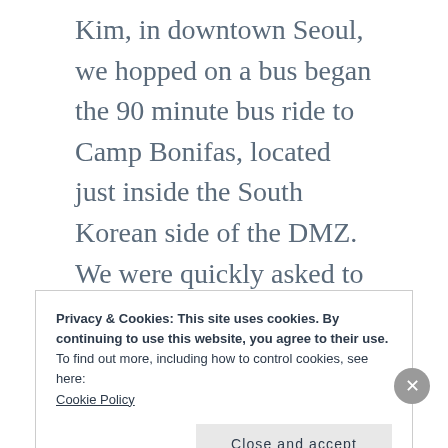Kim, in downtown Seoul, we hopped on a bus began the 90 minute bus ride to Camp Bonifas, located just inside the South Korean side of the DMZ. We were quickly asked to sign some paperwork that said we were entering an active war zone and were putting our lives at risk by continuing on the tour. After handing in those papers, our tour continued on a long stretch of
Privacy & Cookies: This site uses cookies. By continuing to use this website, you agree to their use.
To find out more, including how to control cookies, see here:
Cookie Policy
Close and accept